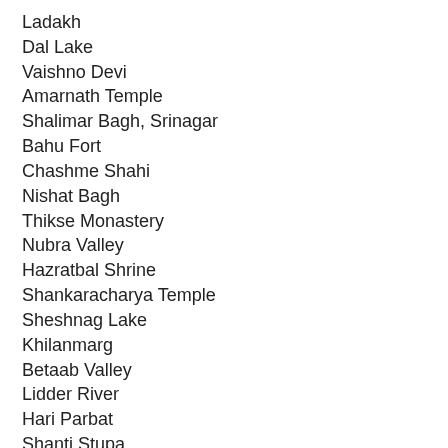Ladakh
Dal Lake
Vaishno Devi
Amarnath Temple
Shalimar Bagh, Srinagar
Bahu Fort
Chashme Shahi
Nishat Bagh
Thikse Monastery
Nubra Valley
Hazratbal Shrine
Shankaracharya Temple
Sheshnag Lake
Khilanmarg
Betaab Valley
Lidder River
Hari Parbat
Shanti Stupa
Jamia Masjid, Srinagar
Gulmarg Gondola
Kheer Bhawani